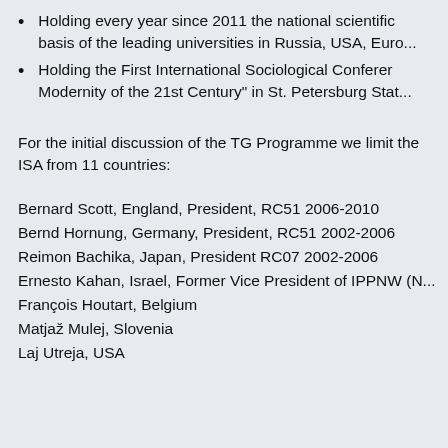Holding every year since 2011 the national scientific... basis of the leading universities in Russia, USA, Euro...
Holding the First International Sociological Conferen... Modernity of the 21st Century" in St. Petersburg Stat...
For the initial discussion of the TG Programme we limit the... ISA from 11 countries:
Bernard Scott, England, President, RC51 2006-2010
Bernd Hornung, Germany, President, RC51 2002-2006
Reimon Bachika, Japan, President RC07 2002-2006
Ernesto Kahan, Israel, Former Vice President of IPPNW (N...
François Houtart, Belgium
Matjaž Mulej, Slovenia
Laj Utreja, USA